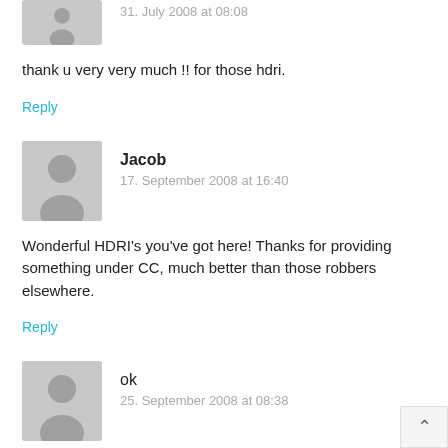[Figure (illustration): Gray avatar silhouette of a person, partially cropped at top]
31. July 2008 at 08:08 (partially cropped)
thank u very very much !! for those hdri.
Reply
[Figure (illustration): Gray avatar silhouette of a person]
Jacob
17. September 2008 at 16:40
Wonderful HDRI's you've got here! Thanks for providing something under CC, much better than those robbers elsewhere.
Reply
[Figure (illustration): Gray avatar silhouette of a person]
ok
25. September 2008 at 08:38
good site aimhkc
Reply